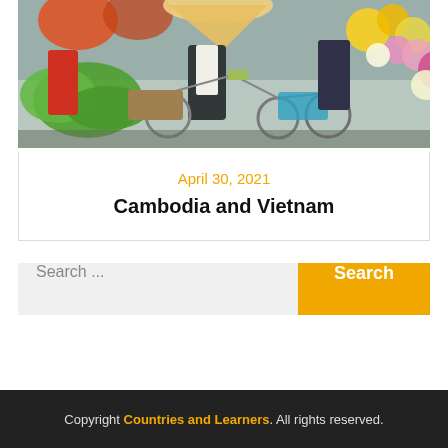[Figure (photo): Outdoor market scene with vendors on bicycles carrying vegetables and flowers, people in colorful clothing]
April 30, 2021
Cambodia and Vietnam
Search ...
Copyright Countries and Learners. All rights reserved.